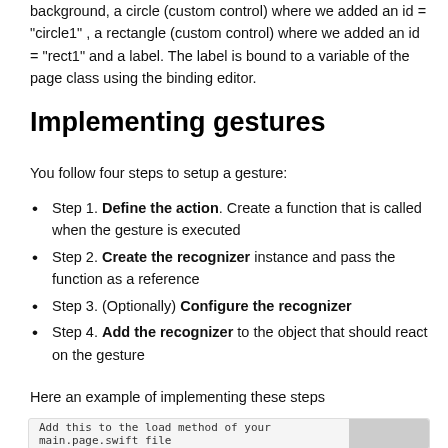background, a circle (custom control) where we added an id = "circle1" , a rectangle (custom control) where we added an id = "rect1" and a label. The label is bound to a variable of the page class using the binding editor.
Implementing gestures
You follow four steps to setup a gesture:
Step 1. Define the action. Create a function that is called when the gesture is executed
Step 2. Create the recognizer instance and pass the function as a reference
Step 3. (Optionally) Configure the recognizer
Step 4. Add the recognizer to the object that should react on the gesture
Here an example of implementing these steps
Add this to the load method of your main.page.swift file